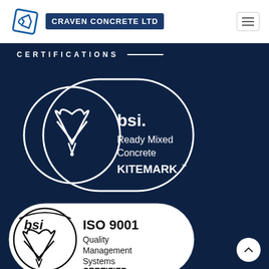CRAVEN CONCRETE LTD
CERTIFICATIONS
[Figure (logo): BSI Ready Mixed Concrete KITEMARK logo - white on dark navy background, rounded pill shape with BSI kite/heart symbol on left circle and text 'bsi. Ready Mixed Concrete KITEMARK™' on right]
[Figure (logo): BSI ISO 9001 Quality Management Systems CERTIFIED logo - black on white background, rounded pill shape with BSI kite/heart symbol on left and text 'bsi ISO 9001 Quality Management Systems CERTIFIED' on right]